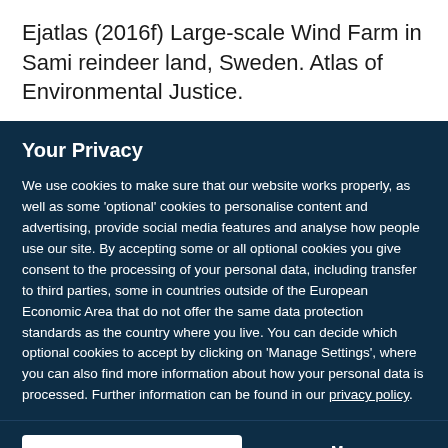Ejatlas (2016f) Large-scale Wind Farm in Sami reindeer land, Sweden. Atlas of Environmental Justice.
Your Privacy
We use cookies to make sure that our website works properly, as well as some 'optional' cookies to personalise content and advertising, provide social media features and analyse how people use our site. By accepting some or all optional cookies you give consent to the processing of your personal data, including transfer to third parties, some in countries outside of the European Economic Area that do not offer the same data protection standards as the country where you live. You can decide which optional cookies to accept by clicking on 'Manage Settings', where you can also find more information about how your personal data is processed. Further information can be found in our privacy policy.
Accept all cookies
Manage preferences